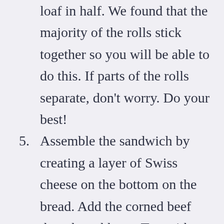loaf in half. We found that the majority of the rolls stick together so you will be able to do this. If parts of the rolls separate, don't worry. Do your best!
5. Assemble the sandwich by creating a layer of Swiss cheese on the bottom on the bread. Add the corned beef then the cabbage. Top with another layer of Swiss cheese. Place the top of Hawaiian bread back on the sandwich, wrap the sandwich in tin foil and place in the oven for 10 minutes. This will